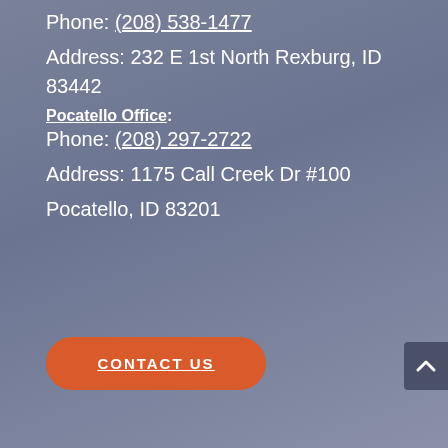Phone: (208) 538-1477
Address: 232 E 1st North Rexburg, ID 83442
Pocatello Office:
Phone: (208) 297-2722
Address: 1175 Call Creek Dr #100
Pocatello, ID 83201
CONTACT US